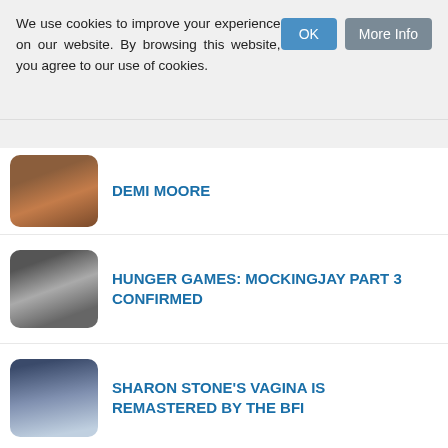We use cookies to improve your experience on our website. By browsing this website, you agree to our use of cookies.
DEMI MOORE
HUNGER GAMES: MOCKINGJAY PART 3 CONFIRMED
SHARON STONE'S VAGINA IS REMASTERED BY THE BFI
NEW PHOTO OF CHARLIE SHEEN CAUSES CONCERN
ROBIN HOOD 2 GETS GO AHEAD